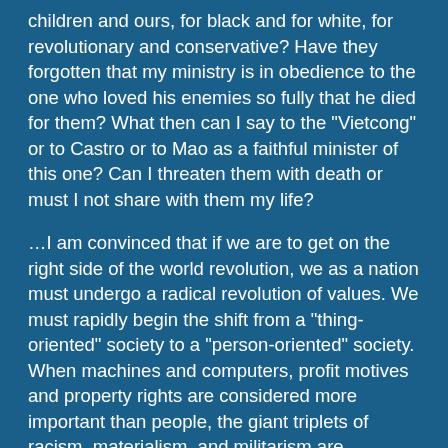children and ours, for black and for white, for revolutionary and conservative? Have they forgotten that my ministry is in obedience to the one who loved his enemies so fully that he died for them? What then can I say to the "Vietcong" or to Castro or to Mao as a faithful minister of this one? Can I threaten them with death or must I not share with them my life?
…I am convinced that if we are to get on the right side of the world revolution, we as a nation must undergo a radical revolution of values. We must rapidly begin the shift from a "thing-oriented" society to a "person-oriented" society. When machines and computers, profit motives and property rights are considered more important than people, the giant triplets of racism, materialism, and militarism are incapable of being conquered.
True compassion is more than flinging a coin to a